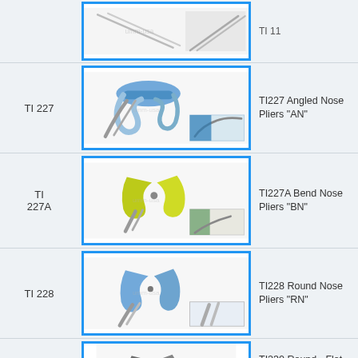[Figure (photo): Partial view of tweezers/pliers at top of page]
TI 227
[Figure (photo): TI227 Angled Nose Pliers with blue handles, shown from two angles]
TI227 Angled Nose Pliers "AN"
TI 227A
[Figure (photo): TI227A Bend Nose Pliers with yellow-green handles, shown from two angles]
TI227A Bend Nose Pliers "BN"
TI 228
[Figure (photo): TI228 Round Nose Pliers with blue handles, shown from two angles]
TI228 Round Nose Pliers "RN"
TI 230
[Figure (photo): TI230 Round-Flat Nose Pliers with dark grey handles, shown from two angles]
TI230 Round - Flat Nose Pliers "RF" (M448)